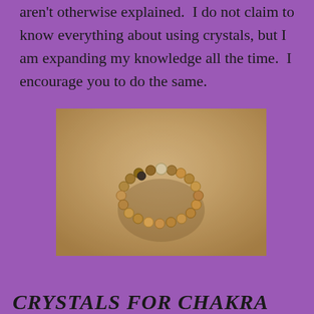aren't otherwise explained.  I do not claim to know everything about using crystals, but I am expanding my knowledge all the time.  I encourage you to do the same.
[Figure (photo): A beaded crystal bracelet arranged in a heart shape on sand, casting a shadow.]
CRYSTALS FOR CHAKRA